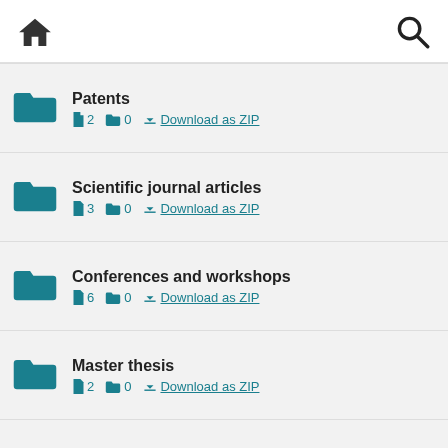Home | Search
Patents — 2 files, 0 folders — Download as ZIP
Scientific journal articles — 3 files, 0 folders — Download as ZIP
Conferences and workshops — 6 files, 0 folders — Download as ZIP
Master thesis — 2 files, 0 folders — Download as ZIP
PhD Thesis — 1 file, 0 folders — Download as ZIP